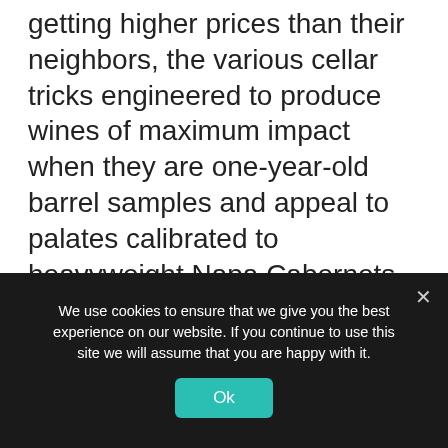getting higher prices than their neighbors, the various cellar tricks engineered to produce wines of maximum impact when they are one-year-old barrel samples and appeal to palates calibrated to heavyweight Napa Cabernets. What's more, he named names. For the most part, Brook maintained a journalistic objectivity about the effect of such techniques on the ultimate character of the wines. But for those who appreciate knowing how their sausages and wines are made, Brook's accounting of the châteaux that achieve those inky colors by
We use cookies to ensure that we give you the best experience on our website. If you continue to use this site we will assume that you are happy with it.